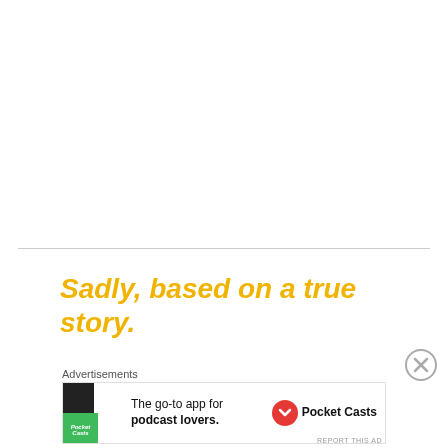Sadly, based on a true story.
Advertisements
[Figure (infographic): Pocket Casts podcast app advertisement banner with app icon (four-quadrant colored squares) and text 'The go-to app for podcast lovers.' with Pocket Casts logo]
REPORT THIS AD